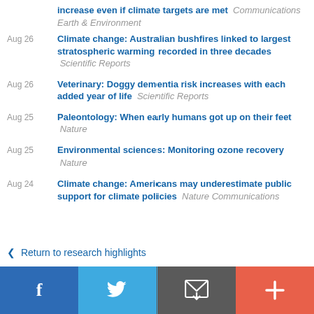increase even if climate targets are met  Communications Earth & Environment
Aug 26  Climate change: Australian bushfires linked to largest stratospheric warming recorded in three decades  Scientific Reports
Aug 26  Veterinary: Doggy dementia risk increases with each added year of life  Scientific Reports
Aug 25  Paleontology: When early humans got up on their feet  Nature
Aug 25  Environmental sciences: Monitoring ozone recovery  Nature
Aug 24  Climate change: Americans may underestimate public support for climate policies  Nature Communications
< Return to research highlights